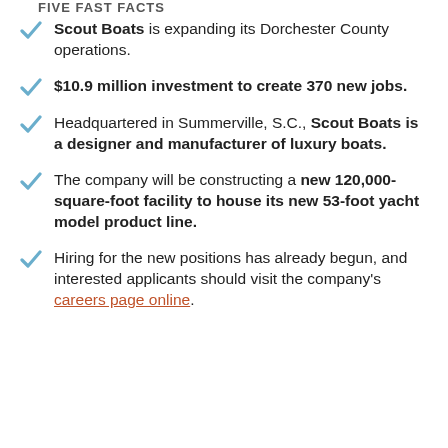FIVE FAST FACTS
Scout Boats is expanding its Dorchester County operations.
$10.9 million investment to create 370 new jobs.
Headquartered in Summerville, S.C., Scout Boats is a designer and manufacturer of luxury boats.
The company will be constructing a new 120,000-square-foot facility to house its new 53-foot yacht model product line.
Hiring for the new positions has already begun, and interested applicants should visit the company's careers page online.